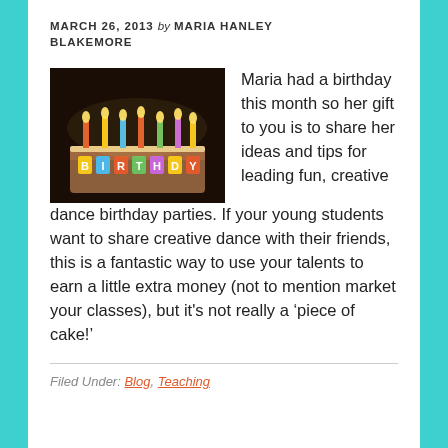MARCH 26, 2013 by MARIA HANLEY BLAKEMORE
[Figure (photo): A birthday cake with colorful letter candles spelling BIRTHDAY, lit candles, dark background]
Maria had a birthday this month so her gift to you is to share her ideas and tips for leading fun, creative dance birthday parties. If your young students want to share creative dance with their friends, this is a fantastic way to use your talents to earn a little extra money (not to mention market your classes), but it's not really a ‘piece of cake!'
Filed Under: Blog, Teaching